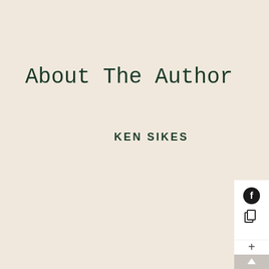About The Author
KEN SIKES
[Figure (other): UI overlay panel with Facebook icon, copy icon, plus button, and scroll-to-top arrow button on right edge of page]